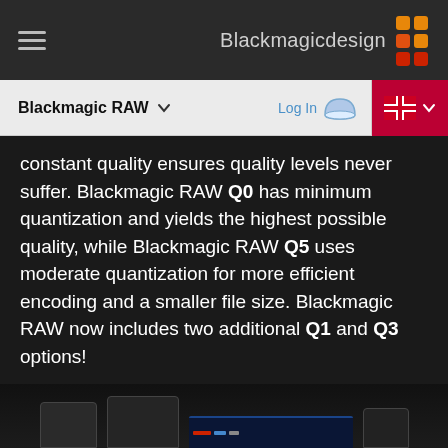Blackmagicdesign — navigation bar with hamburger menu and logo
Blackmagic RAW — Log In — language selector
constant quality ensures quality levels never suffer. Blackmagic RAW Q0 has minimum quantization and yields the highest possible quality, while Blackmagic RAW Q5 uses moderate quantization for more efficient encoding and a smaller file size. Blackmagic RAW now includes two additional Q1 and Q3 options!
[Figure (photo): Photo of Blackmagic RAW recording devices and monitors on a dark background]